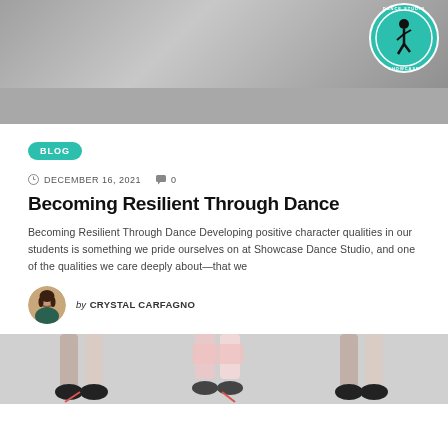[Figure (photo): Top banner image of a dance studio with a circular logo featuring a dancer silhouette and the text Showcase Dance Studio]
BLOG
DECEMBER 16, 2021   0
Becoming Resilient Through Dance
Becoming Resilient Through Dance Developing positive character qualities in our students is something we pride ourselves on at Showcase Dance Studio, and one of the qualities we care deeply about—that we
by CRYSTAL CARFAGNO
[Figure (photo): Photo showing dancers' feet and legs in tap shoes on a studio floor]